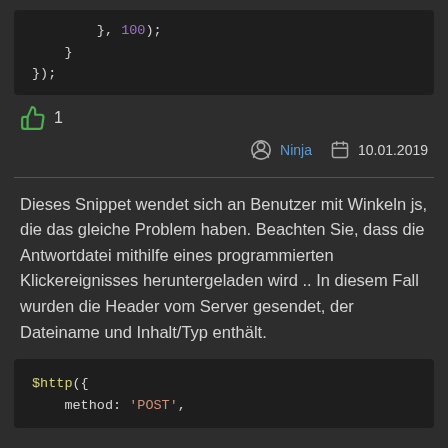[Figure (screenshot): Code block showing JavaScript: }, 100); } });]
1 (like count)
Ninja  10.01.2019
Dieses Snippet wendet sich an Benutzer mit Winkeln js, die das gleiche Problem haben. Beachten Sie, dass die Antwortdatei mithilfe eines programmierten Klickereignisses heruntergeladen wird .. In diesem Fall wurden die Header vom Server gesendet, der Dateiname und Inhalt/Typ enthält.
[Figure (screenshot): Code block showing: $http({ method: 'POST',]